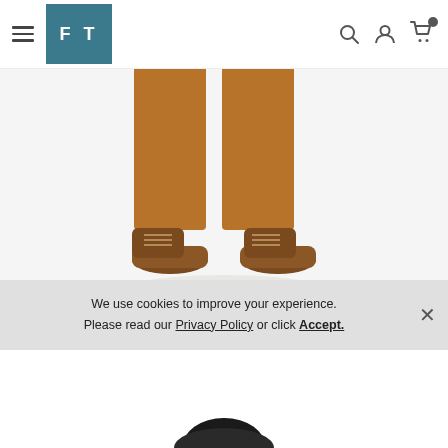FT — navigation header with hamburger menu, logo, search, account, and cart icons
[Figure (photo): Lower half of a person wearing caramel/tan suit trousers and brown leather lace-up Oxford shoes, photographed against a white background]
Caramel Notch Lapel Suit
By Midnight Blue
$154.95
We use cookies to improve your experience. Please read our Privacy Policy or click Accept.
[Figure (photo): Partial top of a dark hair/hat at the bottom of the page, cut off]